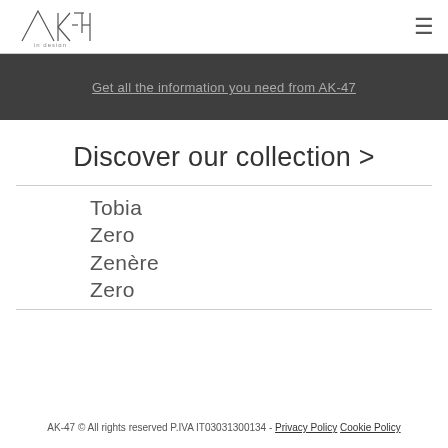[Figure (logo): AK-47 in design logo — handwritten style text with triangle]
≡ (hamburger menu icon)
Get all the information you need from AK-47
Discover our collection >
Tobia
Zero
Zenère
Zero
AK-47 © All rights reserved P.IVA IT03031300134 - Privacy Policy Cookie Policy